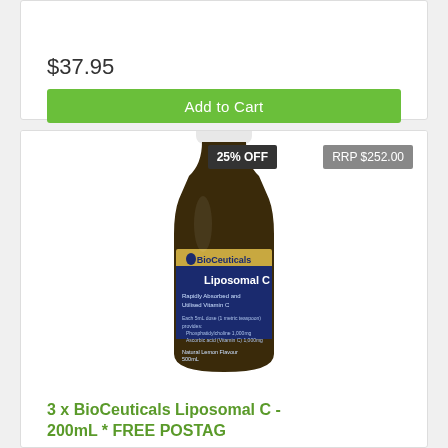$37.95
Add to Cart
[Figure (photo): BioCeuticals Liposomal C 200mL supplement bottle with white cap, dark amber glass bottle, gold and dark blue label showing Liposomal C branding. Badges: 25% OFF and RRP $252.00.]
3 x BioCeuticals Liposomal C - 200mL * FREE POSTAG